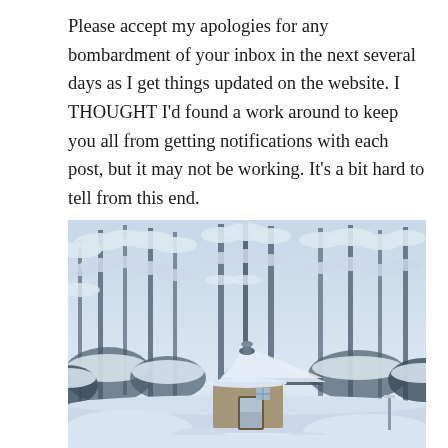Please accept my apologies for any bombardment of your inbox in the next several days as I get things updated on the website. I THOUGHT I'd found a work around to keep you all from getting notifications with each post, but it may not be working. It's a bit hard to tell from this end.
[Figure (photo): A winter landscape photograph showing a small octagonal or round cabin/gazebo structure with a snow-covered conical roof, surrounded by tall bare trees heavily laden with snow, under a pale blue-grey winter sky. The ground is covered in deep snow.]